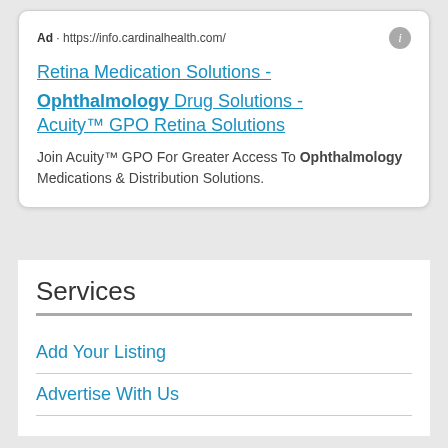Ad · https://info.cardinalhealth.com/
Retina Medication Solutions - Ophthalmology Drug Solutions - Acuity™ GPO Retina Solutions
Join Acuity™ GPO For Greater Access To Ophthalmology Medications & Distribution Solutions.
Services
Add Your Listing
Advertise With Us